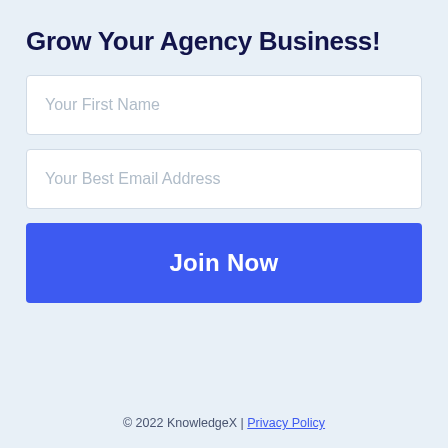Grow Your Agency Business!
Your First Name
Your Best Email Address
Join Now
© 2022 KnowledgeX | Privacy Policy